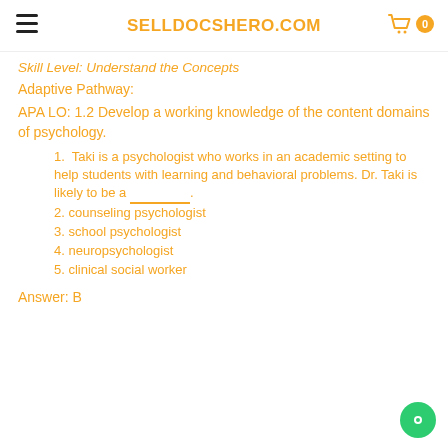SELLDOCSHERO.COM
Skill Level: Understand the Concepts
Adaptive Pathway:
APA LO: 1.2 Develop a working knowledge of the content domains of psychology.
1. Taki is a psychologist who works in an academic setting to help students with learning and behavioral problems. Dr. Taki is likely to be a __________.
2. counseling psychologist
3. school psychologist
4. neuropsychologist
5. clinical social worker
Answer: B